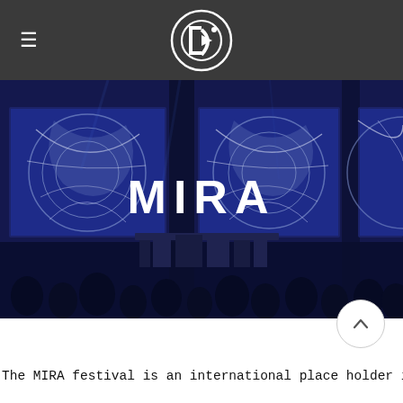≡  [Logo]
[Figure (photo): Concert hall scene with blue lighting, large projection screens showing abstract white circular graphic patterns, performers at equipment on stage, crowd silhouettes in foreground. White text 'MIRA' overlaid in center.]
The MIRA festival is an international place holder in the